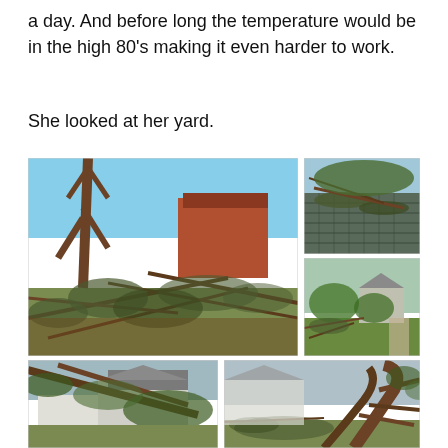a day. And before long the temperature would be in the high 80's making it even harder to work.
She looked at her yard.
[Figure (photo): Collage of five storm damage photos showing fallen trees, debris, and damaged structures in a residential yard after a hurricane or severe storm.]